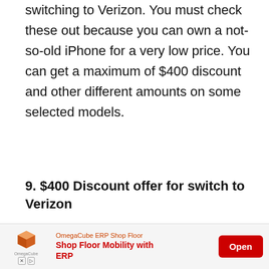switching to Verizon. You must check these out because you can own a not-so-old iPhone for a very low price. You can get a maximum of $400 discount and other different amounts on some selected models.
9. $400 Discount offer for switch to Verizon
How to Get the Offer
Firstly, switch to Verizon, port-in, and buy a selected iPhone online or from a store on a monthly installment plan.
[Figure (other): Advertisement banner for OmegaCube ERP Shop Floor. Shows a 3D box icon, company name in orange, text 'Shop Floor Mobility with ERP' in red bold, and a red 'Open' button.]